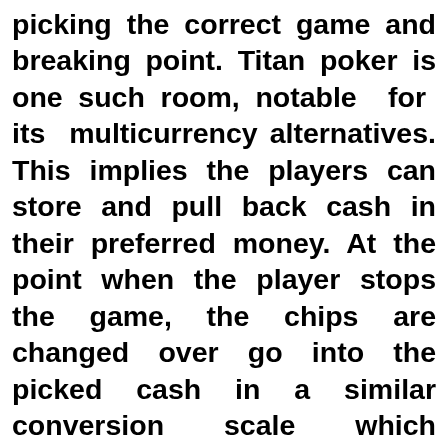picking the correct game and breaking point. Titan poker is one such room, notable for its multicurrency alternatives. This implies the players can store and pull back cash in their preferred money. At the point when the player stops the game, the chips are changed over go into the picked cash in a similar conversion scale which existed when that player entered the game. A decent method to start is by watching others or partaking in the free situs judi online terbaik games. You simply need to